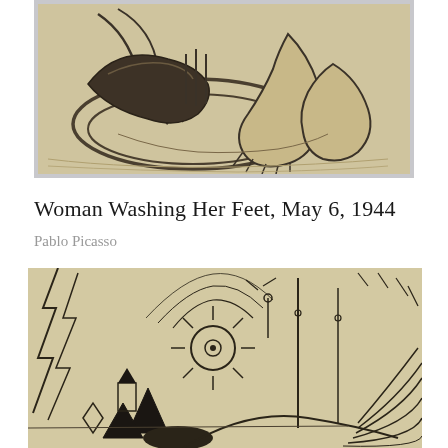[Figure (illustration): Charcoal or pencil sketch on beige/tan paper showing a woman washing her feet, viewed from above. A large curved basin or bowl shape is visible with abstracted figure limbs including feet.]
Woman Washing Her Feet, May 6, 1944
Pablo Picasso
[Figure (illustration): Pencil or charcoal sketch on beige/tan paper showing an abstract landscape or seascape scene with geometric and organic forms: a sun with radiating lines and a circular eye, sailboat masts, angular shapes, birds or star-like forms on sticks, and sweeping diagonal lines suggesting water or light.]